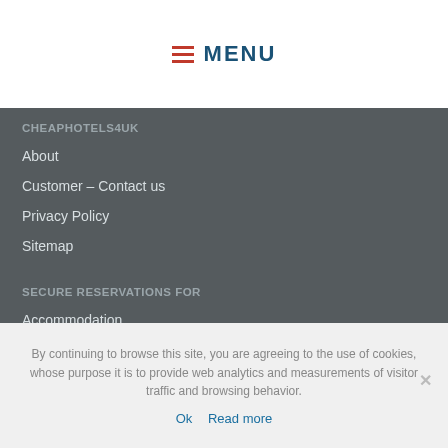MENU
CHEAPHOTELS4UK
About
Customer – Contact us
Privacy Policy
Sitemap
SECURE RESERVATIONS FOR
Accommodation
Car Rentals
By continuing to browse this site, you are agreeing to the use of cookies, whose purpose it is to provide web analytics and measurements of visitor traffic and browsing behavior.
Ok   Read more